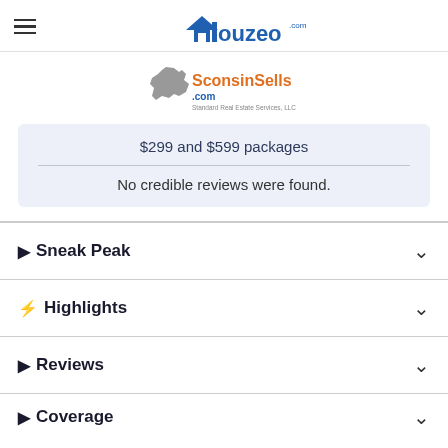Houzeo.com
[Figure (logo): SconsinSells.com logo with Wisconsin state silhouette in gray and orange/blue text reading 'SconsinSells.com' with 'Standard Real Estate Services, LLC' below]
$299 and $599 packages
No credible reviews were found.
Sneak Peak
Highlights
Reviews
Coverage